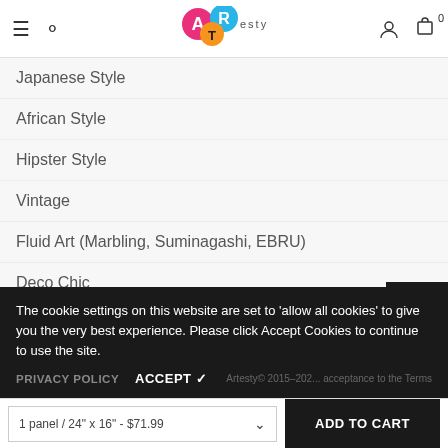ARTesty [logo] navigation header with hamburger, search, user, cart icons
Japanese Style
African Style
Hipster Style
Vintage
Fluid Art (Marbling, Suminagashi, EBRU)
Deco Chic
Engine World
Black and White
The cookie settings on this website are set to 'allow all cookies' to give you the very best experience. Please click Accept Cookies to continue to use the site.
PRIVACY POLICY   ACCEPT ✓
1 panel / 24" x 16" - $71.99   ADD TO CART